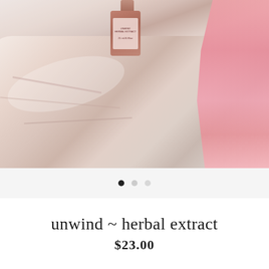[Figure (photo): Product photo of a small amber/terracotta colored herbal extract bottle sitting on a large rose quartz crystal, with pink fabric visible on the right side and plastic wrap in the upper left. The bottle has a label that reads UNWIND HERBAL EXTRACT.]
[Figure (other): Image carousel navigation dots: one filled black dot (active) followed by two lighter gray dots (inactive), centered below the product photo.]
unwind ~ herbal extract
$23.00